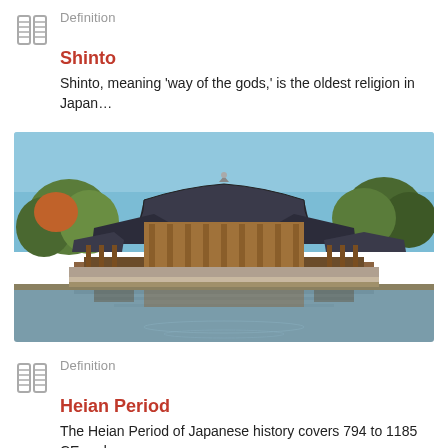Definition
Shinto
Shinto, meaning 'way of the gods,' is the oldest religion in Japan...
[Figure (photo): Photograph of a traditional Japanese temple building with sweeping curved roofs reflected in a calm pond, surrounded by trees under a clear blue sky. Likely the Byodoin Temple or similar Heian-era architecture.]
Definition
Heian Period
The Heian Period of Japanese history covers 794 to 1185 CE and...